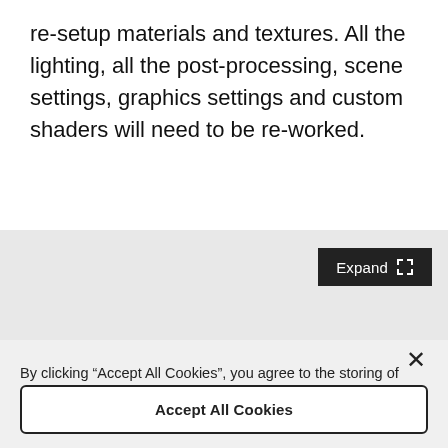re-setup materials and textures. All the lighting, all the post-processing, scene settings, graphics settings and custom shaders will need to be re-worked.
[Figure (screenshot): Gray expand box with a dark 'Expand' button with expand icon in the top-right corner]
By clicking “Accept All Cookies”, you agree to the storing of cookies on your device to enhance site navigation, analyze site usage, and assist in our marketing efforts.
Cookies Settings
Accept All Cookies